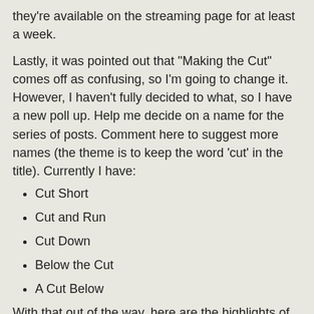they're available on the streaming page for at least a week.
Lastly, it was pointed out that "Making the Cut" comes off as confusing, so I'm going to change it. However, I haven't fully decided to what, so I have a new poll up. Help me decide on a name for the series of posts. Comment here to suggest more names (the theme is to keep the word 'cut' in the title). Currently I have:
Cut Short
Cut and Run
Cut Down
Below the Cut
A Cut Below
With that out of the way, here are the highlights of 1989:
Ultima: Exodus
Hydlide
Dungeon Explorer